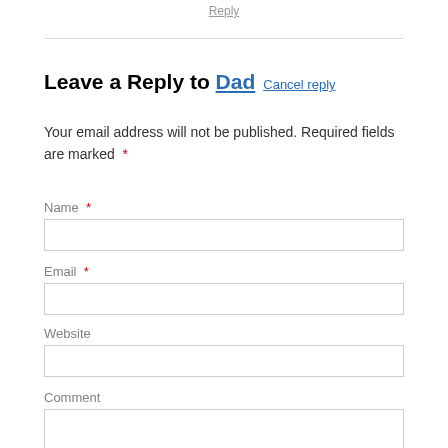Reply
Leave a Reply to Dad  Cancel reply
Your email address will not be published. Required fields are marked *
Name *
Email *
Website
Comment